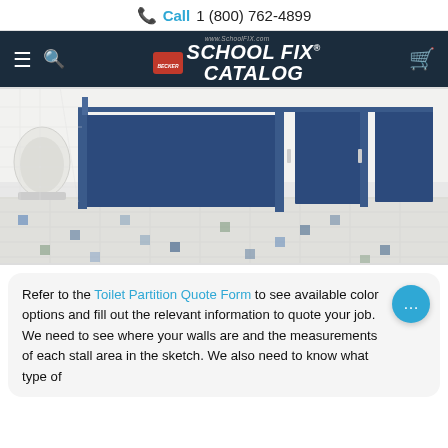Call 1 (800) 762-4899
[Figure (logo): School Fix Catalog logo on dark navy navigation bar with hamburger menu, search icon, and cart icon]
[Figure (photo): Interior of a school bathroom showing blue toilet partition stalls with metal hardware, white tile walls, and decorative blue and gray tile floor with a urinal visible on the left]
Refer to the Toilet Partition Quote Form to see available color options and fill out the relevant information to quote your job. We need to see where your walls are and the measurements of each stall area in the sketch. We also need to know what type of